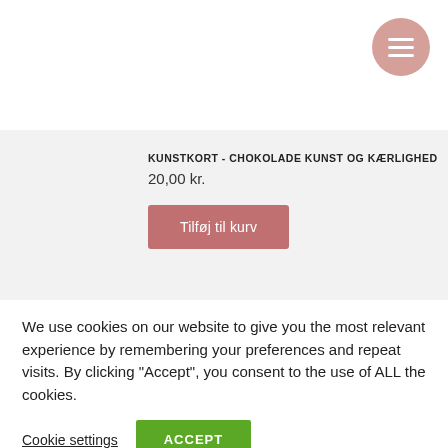[Figure (other): Hamburger menu button — pink circle with three white horizontal lines, top-right corner]
KUNSTKORT - CHOKOLADE KUNST OG KÆRLIGHED
20,00 kr.
Tilføj til kurv
We use cookies on our website to give you the most relevant experience by remembering your preferences and repeat visits. By clicking "Accept", you consent to the use of ALL the cookies.
Cookie settings
ACCEPT